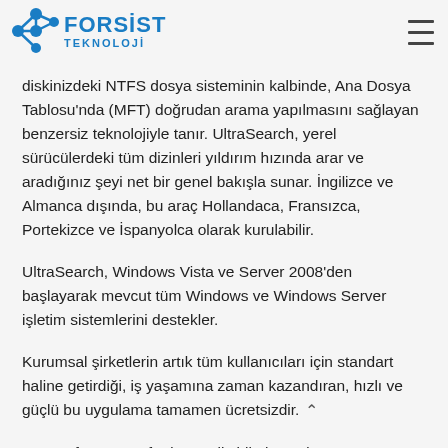[Figure (logo): FORSiST TEKNOLOJİ logo with blue network/molecule icon and bold blue text]
diskinizdeki NTFS dosya sisteminin kalbinde, Ana Dosya Tablosu'nda (MFT) doğrudan arama yapılmasını sağlayan benzersiz teknolojiyle tanır. UltraSearch, yerel sürücülerdeki tüm dizinleri yıldırım hızında arar ve aradığınız şeyi net bir genel bakışla sunar. İngilizce ve Almanca dışında, bu araç Hollandaca, Fransızca, Portekizce ve İspanyolca olarak kurulabilir.
UltraSearch, Windows Vista ve Server 2008'den başlayarak mevcut tüm Windows ve Windows Server işletim sistemlerini destekler.
Kurumsal şirketlerin artık tüm kullanıcıları için standart haline getirdiği, iş yaşamına zaman kazandıran, hızlı ve güçlü bu uygulama tamamen ücretsizdir.
Jam Software tarafından gerliştirilmiş ve dünyanın en popüler dosya arama uygulamasıdır.